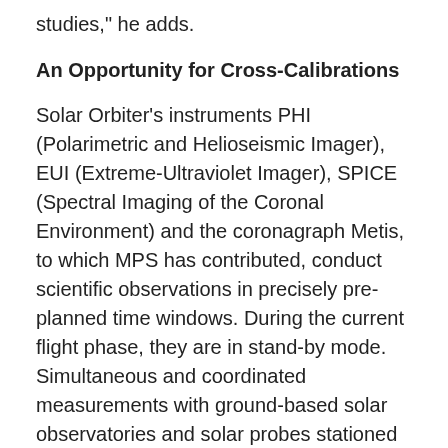These data are an excellent basis for collaborative studies," he adds.
An Opportunity for Cross-Calibrations
Solar Orbiter's instruments PHI (Polarimetric and Helioseismic Imager), EUI (Extreme-Ultraviolet Imager), SPICE (Spectral Imaging of the Coronal Environment) and the coronagraph Metis, to which MPS has contributed, conduct scientific observations in precisely pre-planned time windows. During the current flight phase, they are in stand-by mode. Simultaneous and coordinated measurements with ground-based solar observatories and solar probes stationed close to Earth (such as NASA's Solar Dynamics Observatory (SDO) and the Japanese probe Hinode) took place earlier this month. At that time, Solar Orbiter was already quite close to Earth. All involved observatories therefore enjoyed a similar view of our star. This is an important prerequisite for obtaining